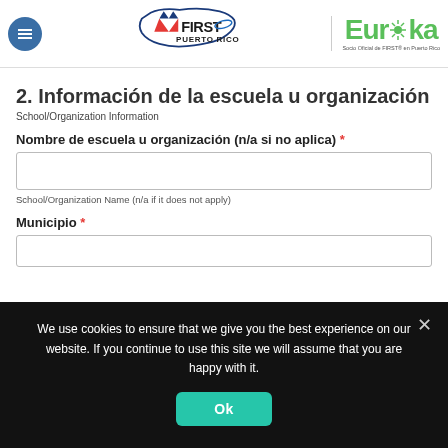[Figure (logo): FIRST Puerto Rico and Eureka logos in the page header with a hamburger menu icon]
2. Información de la escuela u organización
School/Organization Information
Nombre de escuela u organización (n/a si no aplica) *
School/Organization Name (n/a if it does not apply)
Municipio *
We use cookies to ensure that we give you the best experience on our website. If you continue to use this site we will assume that you are happy with it.